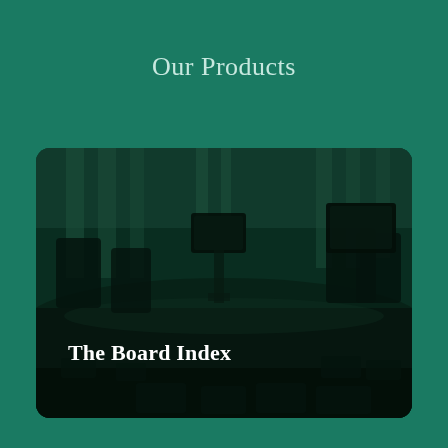Our Products
[Figure (photo): Dark teal-toned photograph of a boardroom with chairs and monitors around a conference table, with 'The Board Index' text overlaid in the lower left]